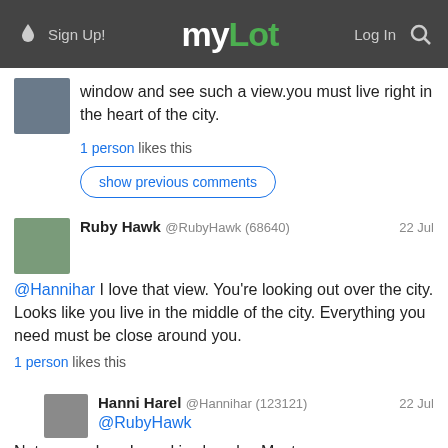myLot — Sign Up! Log In
window and see such a view.you must live right in the heart of the city.
1 person likes this
show previous comments
Ruby Hawk @RubyHawk (68640) — 22 Jul
@Hannihar I love that view. You're looking out over the city. Looks like you live in the middle of the city. Everything you need must be close around you.
1 person likes this
Hanni Harel @Hannihar (123121) — 22 Jul
@RubyHawk
Not every place I need is close by. Most are.
1 person likes this
Hanni Harel @Hannihar (123121) — 22 Jul